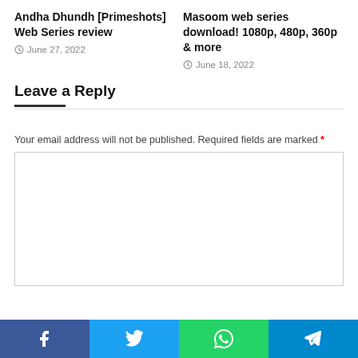Andha Dhundh [Primeshots] Web Series review
June 27, 2022
Masoom web series download! 1080p, 480p, 360p & more
June 18, 2022
Leave a Reply
Your email address will not be published. Required fields are marked *
[Figure (other): Empty comment text area box]
[Figure (other): Social share bar with Facebook, Twitter, WhatsApp, Telegram buttons]